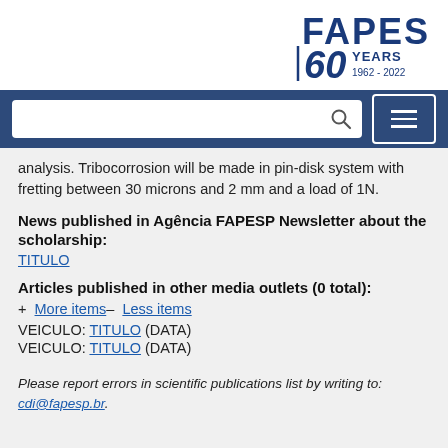[Figure (logo): FAPESP 60 Years 1962-2022 logo]
analysis. Tribocorrosion will be made in pin-disk system with fretting between 30 microns and 2 mm and a load of 1N.
News published in Agência FAPESP Newsletter about the scholarship:
TITULO
Articles published in other media outlets (0 total):
+ More items– Less items
VEICULO: TITULO (DATA)
VEICULO: TITULO (DATA)
Please report errors in scientific publications list by writing to: cdi@fapesp.br.